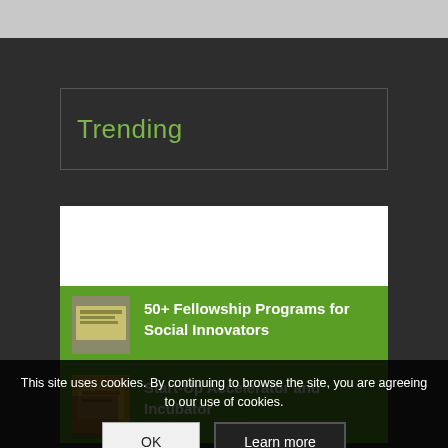Trending
50+ Fellowship Programs for Social Innovators
Start-Up Accelerator and Incubator Programs for Social ...
Product Review: BioBag Compostable Dog... Make ...
What's a constituency clause?
This site uses cookies. By continuing to browse the site, you are agreeing to our use of cookies.
OK
Learn more